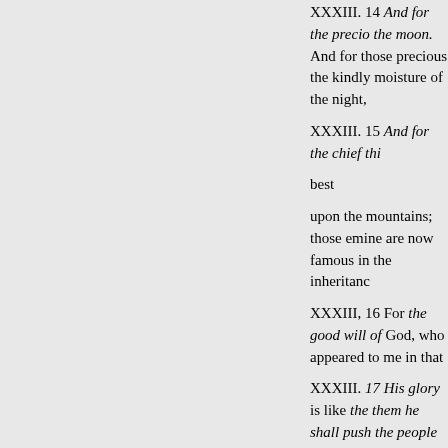XXXIII. 14 And for the precious things of the moon. And for those precious things the kindly moisture of the night,
XXXIII. 15 And for the chief things best upon the mountains; those eminent are now famous in the inheritance
XXXIII, 16 For the good will of God, who appeared to me in that
XXXIII. 17 His glory is like the them he shall push the people to and they are the thousands of M and courage, like to a fair young wherewith he shall conquer far-r Joseph, Ephraim and Manasseh, degrees.
XXXIII. 18 Rejoice, Zebulun, in have, o Zebulan, in all thy going thy quiet habitations at home.
XXXIII. 20 He dwelleth as a lio commodiously for spoiling his e